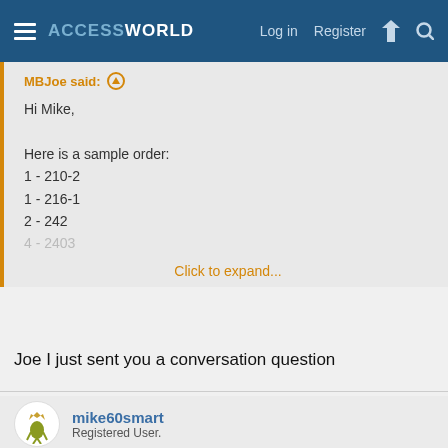ACCESSWORLD  Log in  Register
MBJoe said: ↑
Hi Mike,

Here is a sample order:
1 - 210-2
1 - 216-1
2 - 242
4 - 2403

Click to expand...
Joe I just sent you a conversation question
mike60smart
Registered User.
Mar 13, 2021  #7
MBJoe said: ↑
Hi Mike,